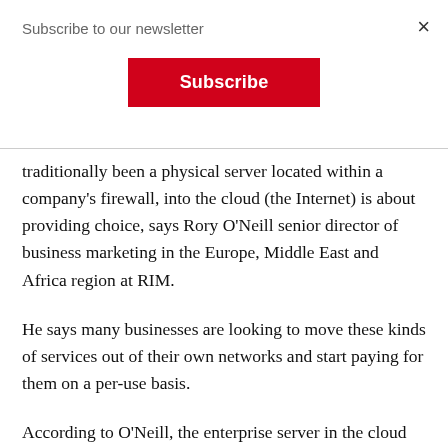Subscribe to our newsletter
Subscribe
traditionally been a physical server located within a company's firewall, into the cloud (the Internet) is about providing choice, says Rory O'Neill senior director of business marketing in the Europe, Middle East and Africa region at RIM.
He says many businesses are looking to move these kinds of services out of their own networks and start paying for them on a per-use basis.
According to O'Neill, the enterprise server in the cloud product will have the same capabilities as the traditional on-premises solution, only it will now be managed from